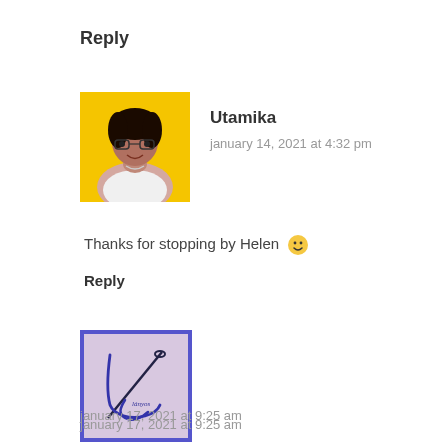Reply
[Figure (photo): Profile photo of Utamika: woman with glasses on yellow background]
Utamika
january 14, 2021 at 4:32 pm
Thanks for stopping by Helen 🙂
Reply
[Figure (logo): Lányos Handmade logo: cursive letter L with needle on pink/lavender background with blue border]
Linda of Lányos Handmade / Nice dress! Thanks, I made it!!
january 17, 2021 at 9:25 am